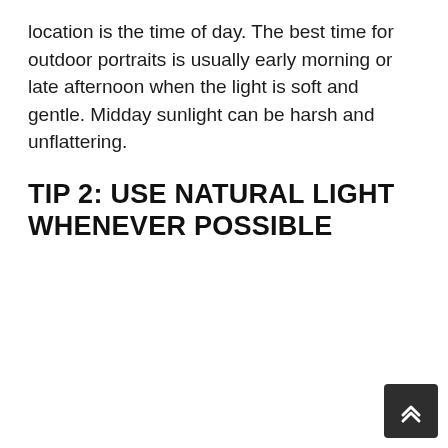location is the time of day. The best time for outdoor portraits is usually early morning or late afternoon when the light is soft and gentle. Midday sunlight can be harsh and unflattering.
TIP 2: USE NATURAL LIGHT WHENEVER POSSIBLE